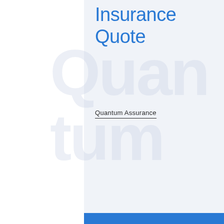Insurance Quote
Quantum Assurance